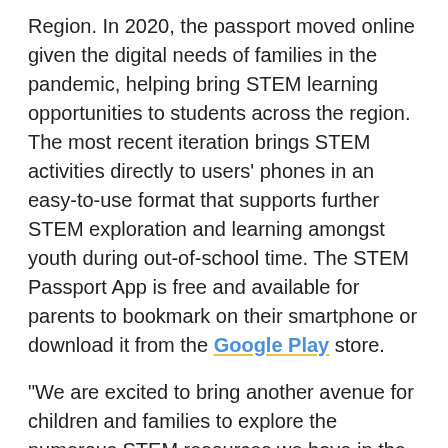Region. In 2020, the passport moved online given the digital needs of families in the pandemic, helping bring STEM learning opportunities to students across the region. The most recent iteration brings STEM activities directly to users' phones in an easy-to-use format that supports further STEM exploration and learning amongst youth during out-of-school time. The STEM Passport App is free and available for parents to bookmark on their smartphone or download it from the Google Play store.
“We are excited to bring another avenue for children and families to explore the numerous STEM resources we have in the Great Lakes Bay Region with our new STEM Passport app,” said Lori Flippin, STEM director at the Great Lakes Bay Regional Alliance. “The quality and ease of access to out-of-school time learning opportunities is one of the things that makes for a thriving STEM Ecosystem and supports the next generation’s interest in STEM with the latest evolution of our regional passport.”